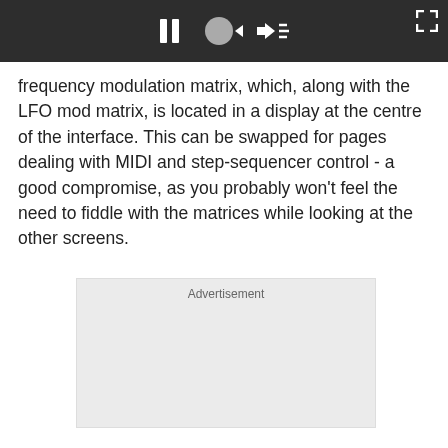[Figure (screenshot): Dark top bar with video player controls: pause button, speaker/volume icons, and an expand/fullscreen icon in the top right corner]
frequency modulation matrix, which, along with the LFO mod matrix, is located in a display at the centre of the interface. This can be swapped for pages dealing with MIDI and step-sequencer control - a good compromise, as you probably won't feel the need to fiddle with the matrices while looking at the other screens.
Advertisement